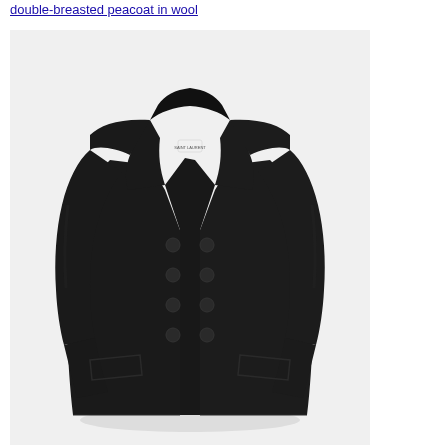double-breasted peacoat in wool
[Figure (photo): Product photo of a black double-breasted wool peacoat displayed on a light gray background. The coat features a wide lapel collar, double-breasted button closure, long sleeves, and hip-length cut.]